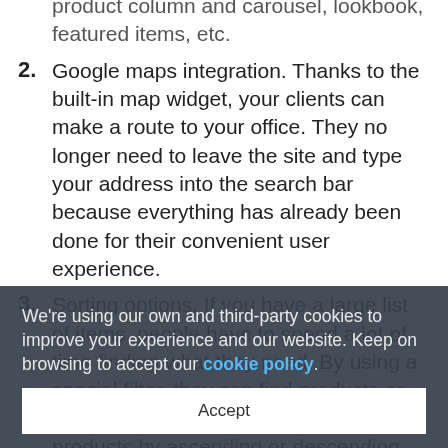product column and carousel, lookbook, featured items, etc.
2. Google maps integration. Thanks to the built-in map widget, your clients can make a route to your office. They no longer need to leave the site and type your address into the search bar because everything has already been done for their convenient user experience.
3. Sorting options. If you have a large list of items, people have to spend a lot of time finding what they need. By using a special filter, they can find products or services faster. Customers can also sort products by ascending or descending order of price, popularity, or update date.
4. Newsletter subscription. Thanks to a special form on the site, potential customers can enter their email. This way you can send mailings about promotions and replenishment of the range. So y... forgotten about your site due to an active life
We're using our own and third-party cookies to improve your experience and our website. Keep on browsing to accept our cookie policy.
Accept